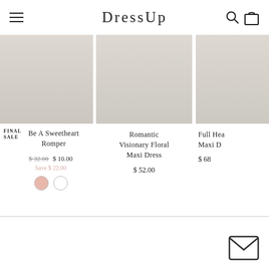DressUp
[Figure (photo): Product photo: Be A Sweetheart Romper]
FINAL SALE
Be A Sweetheart Romper
$ 32.00 $ 10.00 Save $ 22.00
[Figure (photo): Product photo: Romantic Visionary Floral Maxi Dress]
Romantic Visionary Floral Maxi Dress
$ 52.00
[Figure (photo): Product photo: Full Heart Maxi Dress (partially visible)]
Full Hea Maxi D
$ 68
[Figure (illustration): Email envelope icon in bottom right corner]